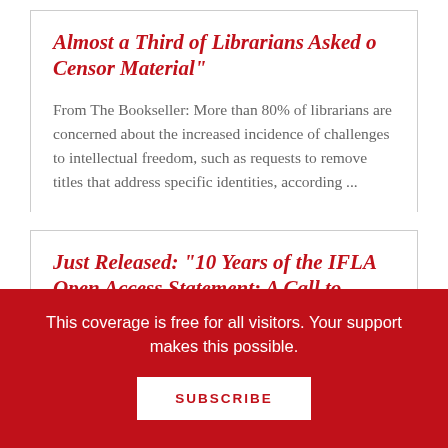Almost a Third of Librarians Asked o Censor Material"
From The Bookseller: More than 80% of librarians are concerned about the increased incidence of challenges to intellectual freedom, such as requests to remove titles that address specific identities, according ...
Just Released: "10 Years of the IFLA Open Access Statement: A Call to Action"
From the International Federation of Library Associations and Institutions: The International ...
This coverage is free for all visitors. Your support makes this possible.
SUBSCRIBE